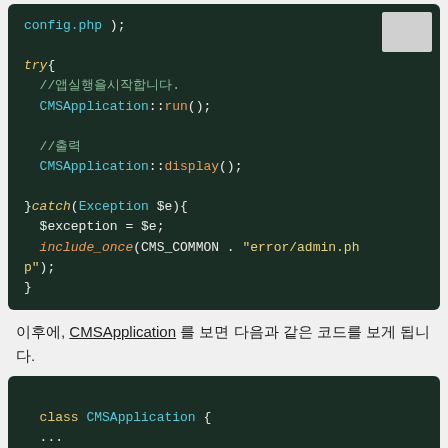[Figure (screenshot): Dark green code block showing PHP try-catch code snippet with CMSApplication::run() and CMSApplication::display() calls, and a catch block with include_once for error/admin.php]
이후에, CMSApplication 를 보면 다음과 같은 코드를 보게 됩니다.
[Figure (screenshot): Dark green code block showing PHP class CMSApplication with public static function run() and $self = CMSApplication::getIns]